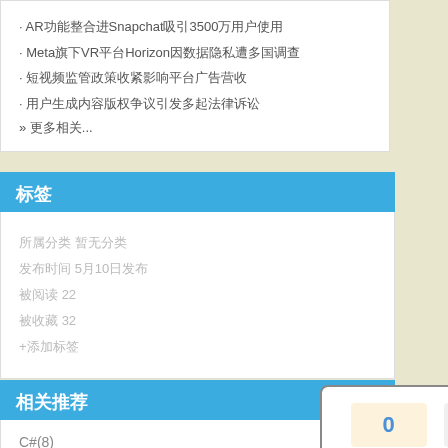· AR功能整合进Snapchat吸引3500万用户使用
· Meta旗下VR平台Horizon因数据隐私遭多国调查
· 短视频监管政策收紧影响平台广告营收
· 用户生成内容版权争议引发多起法律诉讼
» 更多相关...
标签
所属分类 暂无分类
发布时间 5月10日发布
被阅读 22
被收藏 32
+添加标签
相关推荐
C#(8)
[Figure (other): Vote widget with 0 推荐 and 0 反对 buttons]